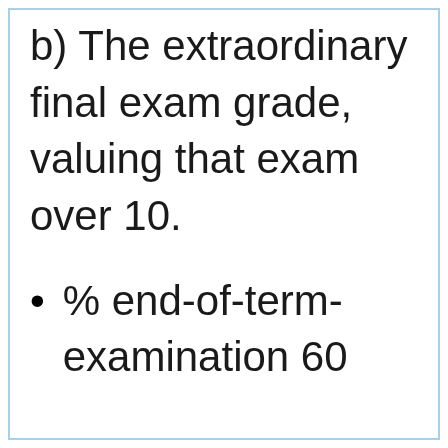b) The extraordinary final exam grade, valuing that exam over 10.
% end-of-term-examination 60